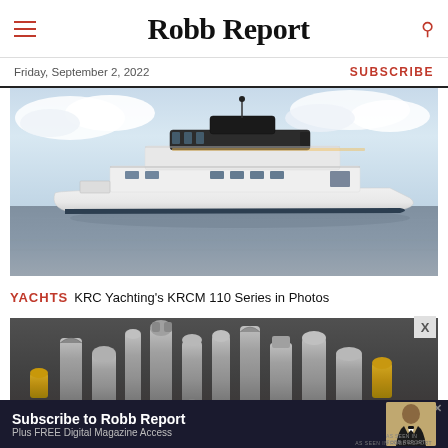Robb Report — Friday, September 2, 2022
[Figure (photo): KRC Yachting KRCM 110 Series luxury motor yacht rendered on calm ocean with cloud-filled sky]
YACHTS KRC Yachting's KRCM 110 Series in Photos
[Figure (photo): Collection of luxury keychains displayed against dark background]
[Figure (other): Subscribe to Robb Report advertisement banner with man in tuxedo — Plus FREE Digital Magazine Access]